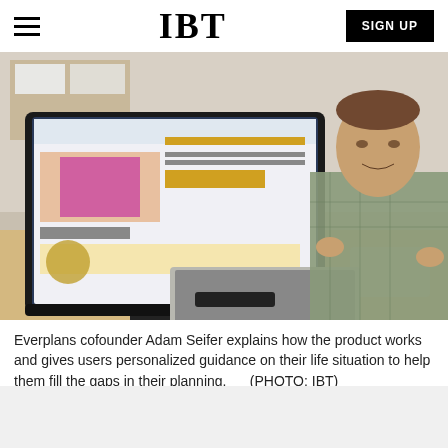IBT
[Figure (photo): Everplans cofounder Adam Seifer sitting at a desk in an office, with a large monitor showing a website, and a laptop on the desk. He is wearing a plaid shirt and gesturing with his hands.]
Everplans cofounder Adam Seifer explains how the product works and gives users personalized guidance on their life situation to help them fill the gaps in their planning.      (PHOTO: IBT)